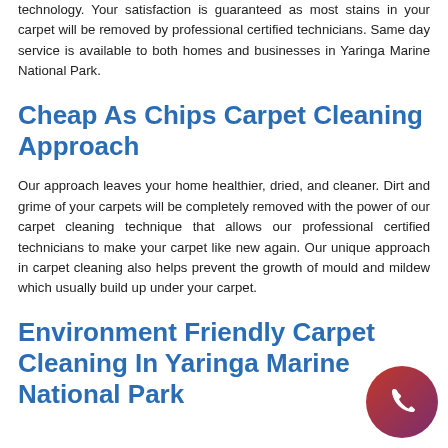technology. Your satisfaction is guaranteed as most stains in your carpet will be removed by professional certified technicians. Same day service is available to both homes and businesses in Yaringa Marine National Park.
Cheap As Chips Carpet Cleaning Approach
Our approach leaves your home healthier, dried, and cleaner. Dirt and grime of your carpets will be completely removed with the power of our carpet cleaning technique that allows our professional certified technicians to make your carpet like new again. Our unique approach in carpet cleaning also helps prevent the growth of mould and mildew which usually build up under your carpet.
Environment Friendly Carpet Cleaning In Yaringa Marine National Park
[Figure (illustration): Phone call button — circular gradient button (red to purple) with a white phone handset icon]